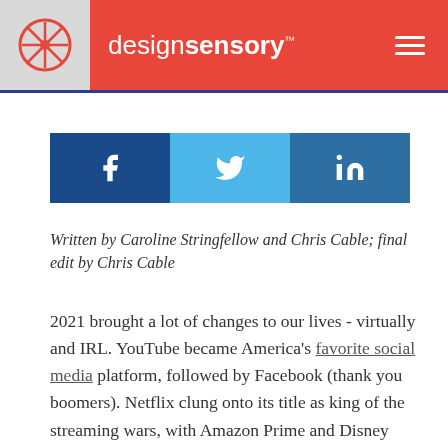designsensory™
[Figure (other): Social media share buttons: Facebook (dark blue), Twitter (light blue), LinkedIn (medium blue)]
Written by Caroline Stringfellow and Chris Cable; final edit by Chris Cable
2021 brought a lot of changes to our lives - virtually and IRL. YouTube became America's favorite social media platform, followed by Facebook (thank you boomers). Netflix clung onto its title as king of the streaming wars, with Amazon Prime and Disney Plus narrowing the gap with their rapidly growing subscribers. Live